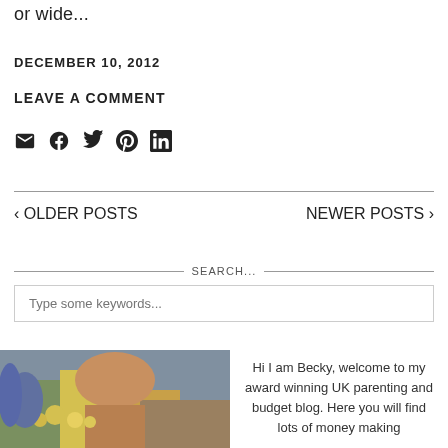or wide...
DECEMBER 10, 2012
LEAVE A COMMENT
[Figure (infographic): Social share icons: email (envelope), Facebook, Twitter, Pinterest, LinkedIn]
< OLDER POSTS
NEWER POSTS >
SEARCH...
Type some keywords...
[Figure (photo): Photo of a person (Becky) outdoors with flowers in the background]
Hi I am Becky, welcome to my award winning UK parenting and budget blog. Here you will find lots of money making